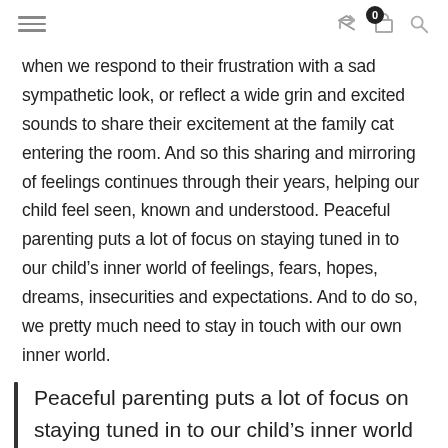[navigation icons: hamburger menu, share, cart (0), search]
when we respond to their frustration with a sad sympathetic look, or reflect a wide grin and excited sounds to share their excitement at the family cat entering the room. And so this sharing and mirroring of feelings continues through their years, helping our child feel seen, known and understood. Peaceful parenting puts a lot of focus on staying tuned in to our child’s inner world of feelings, fears, hopes, dreams, insecurities and expectations. And to do so, we pretty much need to stay in touch with our own inner world.
Peaceful parenting puts a lot of focus on staying tuned in to our child’s inner world of feelings, fears, hopes, dreams, insecurities and expectations. And to do so, we pretty much need to